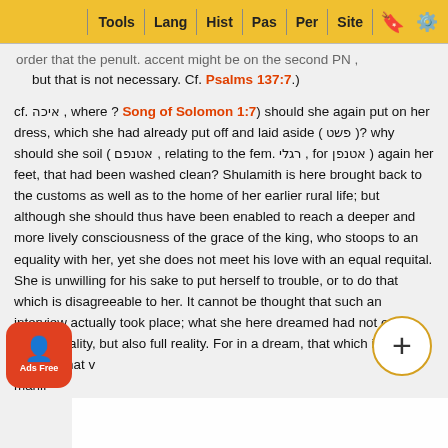Tools | Lang | Hist | Pas | Per | Site
order that the penult. accent might be on the second PN, but that is not necessary. Cf. Psalms 137:7.)
cf. איכה , where ? Song of Solomon 1:7) should she again put on her dress, which she had already put off and laid aside ( פשט )? why should she soil ( אטנפם , relating to the fem. רגלי , for אטנפן ) again her feet, that had been washed clean? Shulamith is here brought back to the customs as well as to the home of her earlier rural life; but although she should thus have been enabled to reach a deeper and more lively consciousness of the grace of the king, who stoops to an equality with her, yet she does not meet his love with an equal requital. She is unwilling for his sake to put herself to trouble, or to do that which is disagreeable to her. It cannot be thought that such an interview actually took place; what she here dreamed had not only inward reality, but also full reality. For in a dream, that which is natural to us or that v
manif